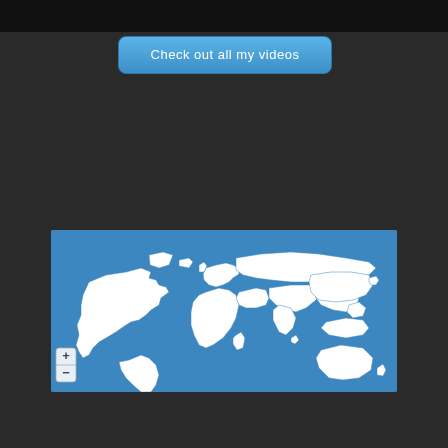[Figure (screenshot): Black bar at top of page, partial screenshot of a video or header]
Check out all my videos
[Figure (map): World map showing 71,899 Pageviews from Jul. 28th - Aug. 28th on a blue background with white country outlines and zoom controls]
71,899 Pageviews
Jul. 28th - Aug. 28th